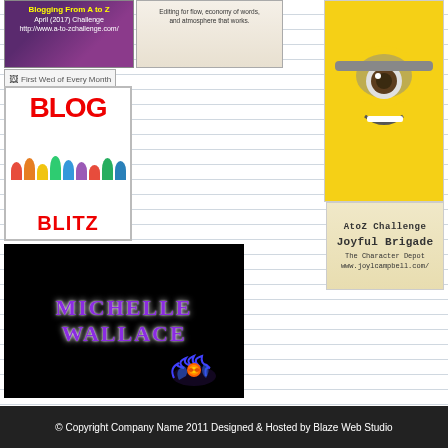[Figure (illustration): AtoZ Blogging Challenge April 2017 badge, purple background with yellow text]
[Figure (photo): Laptop image with text about editing for flow, economy of words, and atmosphere]
[Figure (illustration): First Wed of Every Month badge/button]
[Figure (illustration): Blog Blitz badge: white background with red BLOG and BLITZ text and colorful people figures]
[Figure (illustration): Michelle Wallace banner: black background with purple glowing text and fire rose image]
[Figure (photo): Minion character (yellow) from Despicable Me, right sidebar]
[Figure (illustration): AtoZ Challenge Joyful Brigade - The Character Depot www.joylcampbell.com badge]
© Copyright Company Name 2011 Designed & Hosted by Blaze Web Studio